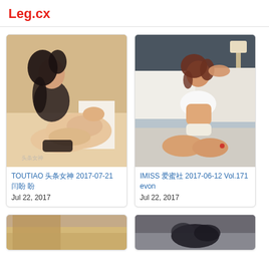Leg.cx
[Figure (photo): Young Asian woman in black lingerie sitting on white surface showing legs, with Chinese watermark text]
TOUTIAO 头条女神 2017-07-21 闫盼盼
Jul 22, 2017
[Figure (photo): Young Asian woman in white lingerie sitting on bed/sofa in bedroom setting]
IMISS 爱蜜社 2017-06-12 Vol.171 evon
Jul 22, 2017
[Figure (photo): Partial view of photo card at bottom left, bedroom interior]
[Figure (photo): Partial view of photo card at bottom right, dark clothing accessories]